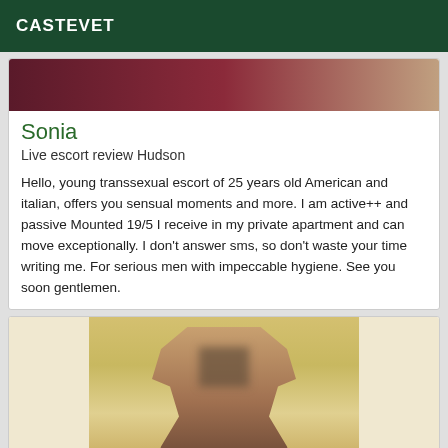CASTEVET
[Figure (photo): Partial photo strip showing a dark red/maroon background, appears to be a cropped person image]
Sonia
Live escort review Hudson
Hello, young transsexual escort of 25 years old American and italian, offers you sensual moments and more. I am active++ and passive Mounted 19/5 I receive in my private apartment and can move exceptionally. I don't answer sms, so don't waste your time writing me. For serious men with impeccable hygiene. See you soon gentlemen.
[Figure (photo): Photo of a blonde-haired person with face blurred/pixelated, posed against a yellow/ochre background]